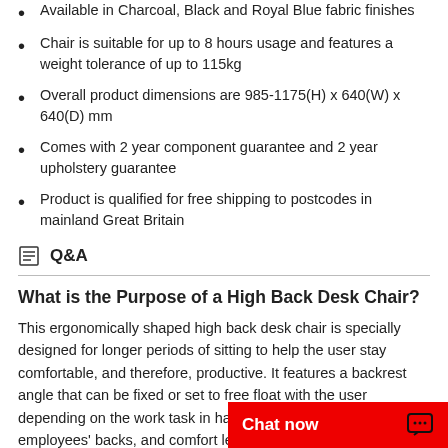Available in Charcoal, Black and Royal Blue fabric finishes (partial, cut off at top)
Chair is suitable for up to 8 hours usage and features a weight tolerance of up to 115kg
Overall product dimensions are 985-1175(H) x 640(W) x 640(D) mm
Comes with 2 year component guarantee and 2 year upholstery guarantee
Product is qualified for free shipping to postcodes in mainland Great Britain
Q&A
What is the Purpose of a High Back Desk Chair?
This ergonomically shaped high back desk chair is specially designed for longer periods of sitting to help the user stay comfortable, and therefore, productive. It features a backrest angle that can be fixed or set to free float with the user depending on the work task in hand. Help to support your employees' backs, and comfort levels with the per… also the best at full…